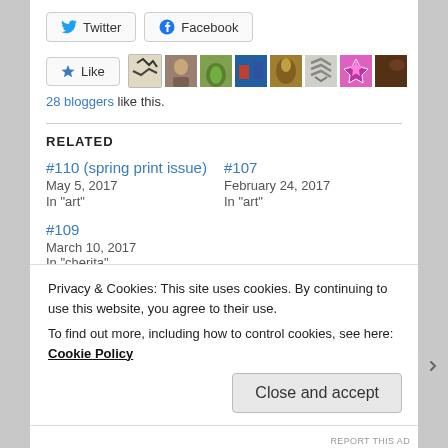[Figure (other): Social share buttons: Twitter and Facebook]
[Figure (other): Like button with star icon and row of blogger avatar images]
28 bloggers like this.
RELATED
#110 (spring print issue)
May 5, 2017
In "art"
#107
February 24, 2017
In "art"
#109
March 10, 2017
In "cherita"
Privacy & Cookies: This site uses cookies. By continuing to use this website, you agree to their use.
To find out more, including how to control cookies, see here: Cookie Policy
Close and accept